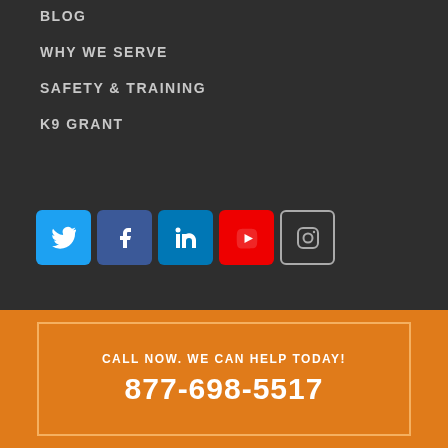BLOG
WHY WE SERVE
SAFETY & TRAINING
K9 GRANT
[Figure (illustration): Social media icons: Twitter (blue), Facebook (dark blue), LinkedIn (blue), YouTube (red), Instagram (outline)]
A SERVICEMASTER.COMPANY
MERRY MAIDS®
TWO MEN AND A TRUCK®
AMERISPEC®
FURNITURE MEDIC®
CALL NOW. WE CAN HELP TODAY!
877-698-5517